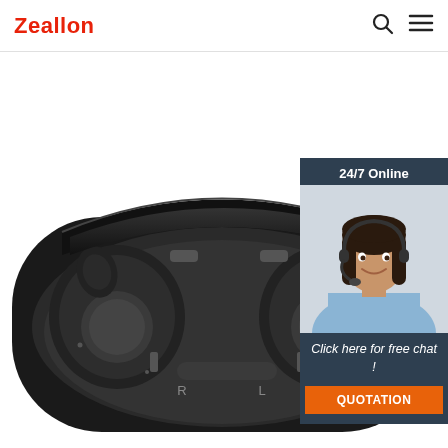Zeallon
[Figure (photo): TWS wireless earbuds in black charging case, open lid, showing left and right earbuds labeled R and L]
[Figure (photo): Customer service agent woman wearing headset smiling, with 24/7 Online banner above and Click here for free chat / QUOTATION button below]